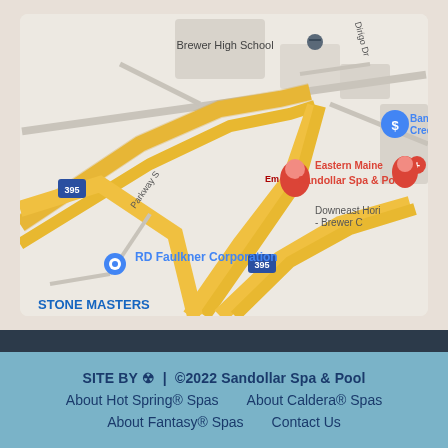[Figure (map): Google Maps screenshot showing the area near Sandollar Spa & Pool in Brewer, Maine. Visible landmarks include Brewer High School, RD Faulkner Corporation, Eastern Maine Medical, Downeast Hori... - Brewer C..., STONE MASTERS, Bango Credit, and Interstate 395 roads.]
SITE BY ⚙ | ©2022 Sandollar Spa & Pool
About Hot Spring® Spas    About Caldera® Spas
About Fantasy® Spas    Contact Us